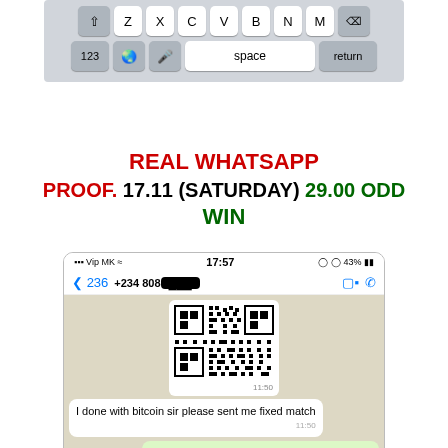[Figure (screenshot): Mobile keyboard screenshot showing bottom two rows: shift Z X C V B N M delete, and 123 globe mic space return]
REAL WHATSAPP PROOF. 17.11 (SATURDAY) 29.00 ODD WIN
[Figure (screenshot): WhatsApp conversation screenshot showing: status bar with Vip MK signal, 17:57, 43% battery; chat header with back arrow, 236, +234 808 (redacted), video and call icons; chat messages include a QR code image at 11:50, incoming message 'I done with bitcoin sir please sent me fixed match' at 11:50, outgoing message 'Okay sir Its confirmed.' at 11:50 with double blue checkmarks]